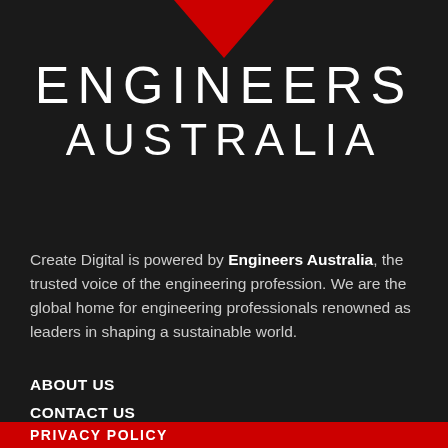[Figure (logo): Engineers Australia logo: red downward-pointing triangle above the text ENGINEERS AUSTRALIA in white on dark background]
ENGINEERS AUSTRALIA
Create Digital is powered by Engineers Australia, the trusted voice of the engineering profession. We are the global home for engineering professionals renowned as leaders in shaping a sustainable world.
ABOUT US
CONTACT US
SITEMAP
PRIVACY POLICY